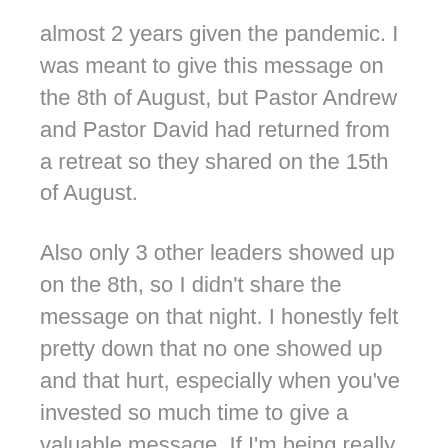almost 2 years given the pandemic. I was meant to give this message on the 8th of August, but Pastor Andrew and Pastor David had returned from a retreat so they shared on the 15th of August.
Also only 3 other leaders showed up on the 8th, so I didn't share the message on that night. I honestly felt pretty down that no one showed up and that hurt, especially when you've invested so much time to give a valuable message. If I'm being really honest, I cried on the way home. For some reason, when I'm attuned to God's will I find myself